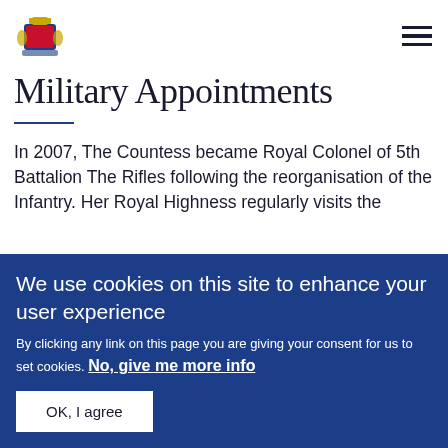Military Appointments — Royal Crest logo and hamburger menu
Military Appointments
In 2007, The Countess became Royal Colonel of 5th Battalion The Rifles following the reorganisation of the Infantry. Her Royal Highness regularly visits the Battalion at their base in Somerset and has attended the
We use cookies on this site to enhance your user experience
By clicking any link on this page you are giving your consent for us to set cookies. No, give me more info
OK, I agree